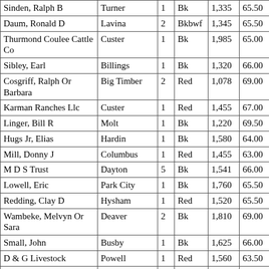| Name | City | # | Color | Weight | Price |
| --- | --- | --- | --- | --- | --- |
| Sinden, Ralph B | Turner | 1 | Bk | 1,335 | 65.50 |
| Daum, Ronald D | Lavina | 2 | Bkbwf | 1,345 | 65.50 |
| Thurmond Coulee Cattle Co | Custer | 1 | Bk | 1,985 | 65.00 |
| Sibley, Earl | Billings | 1 | Bk | 1,320 | 66.00 |
| Cosgriff, Ralph Or Barbara | Big Timber | 2 | Red | 1,078 | 69.00 |
| Karman Ranches Llc | Custer | 1 | Red | 1,455 | 67.00 |
| Linger, Bill R | Molt | 1 | Bk | 1,220 | 69.50 |
| Hugs Jr, Elias | Hardin | 1 | Bk | 1,580 | 64.00 |
| Mill, Donny J | Columbus | 1 | Red | 1,455 | 63.00 |
| M D S Trust | Dayton | 5 | Bk | 1,541 | 66.00 |
| Lowell, Eric | Park City | 1 | Bk | 1,760 | 65.50 |
| Redding, Clay D | Hysham | 1 | Red | 1,520 | 65.50 |
| Wambeke, Melvyn Or Sara | Deaver | 2 | Bk | 1,810 | 69.00 |
| Small, John | Busby | 1 | Bk | 1,625 | 66.00 |
| D & G Livestock | Powell | 1 | Red | 1,560 | 63.50 |
| Snively, Clay | Lodge Grass | 1 | Charx | 1,345 | 65.50 |